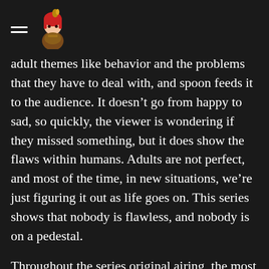[hamburger menu icon] [anime character avatar]
adult themes like behavior and the problems that they have to deal with, and spoon feeds it to the audience. It doesn't go from happy to sad, so quickly, the viewer is wondering if they missed something, but it does show the flaws within humans. Adults are not perfect, and most of the time, in new situations, we're just figuring it out as life goes on. This series shows that nobody is flawless, and nobody is on a pedestal.
Throughout the series original airing, the most common complaint I've heard and read about it was the pacing. Yes, the pacing can be slow, but I